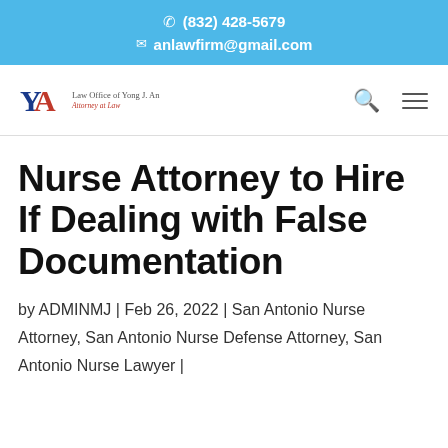☎ (832) 428-5679  ✉ anlawfirm@gmail.com
[Figure (logo): Law Office of Yong J. An – Attorney at Law logo with YA monogram in blue and red]
Nurse Attorney to Hire If Dealing with False Documentation
by ADMINMJ | Feb 26, 2022 | San Antonio Nurse Attorney, San Antonio Nurse Defense Attorney, San Antonio Nurse Lawyer |